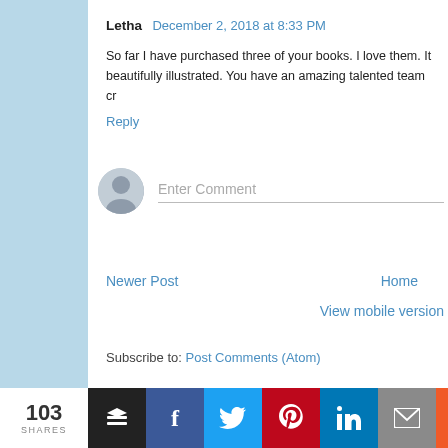Letha  December 2, 2018 at 8:33 PM
So far I have purchased three of your books. I love them. It beautifully illustrated. You have an amazing talented team cr
Reply
[Figure (other): Enter Comment input field with user avatar icon]
Newer Post
Home
View mobile version
Subscribe to: Post Comments (Atom)
[Figure (infographic): Social share bar showing 103 SHARES with icons for Buffer, Facebook, Twitter, Pinterest, LinkedIn, Email, and More]